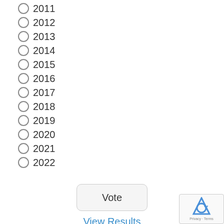○ 2011
○ 2012
○ 2013
○ 2014
○ 2015
○ 2016
○ 2017
○ 2018
○ 2019
○ 2020
○ 2021
○ 2022
Vote
View Results